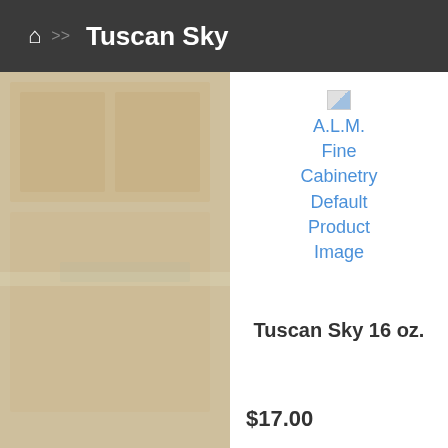🏠 >> Tuscan Sky
[Figure (photo): Faded background photo of a kitchen with light wood cabinetry]
[Figure (illustration): A.L.M. Fine Cabinetry Default Product Image (broken image icon with link text)]
Tuscan Sky 16 oz.
$17.00